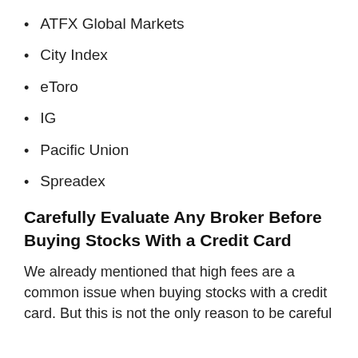ATFX Global Markets
City Index
eToro
IG
Pacific Union
Spreadex
Carefully Evaluate Any Broker Before Buying Stocks With a Credit Card
We already mentioned that high fees are a common issue when buying stocks with a credit card. But this is not the only reason to be careful before choosing a broker to use.